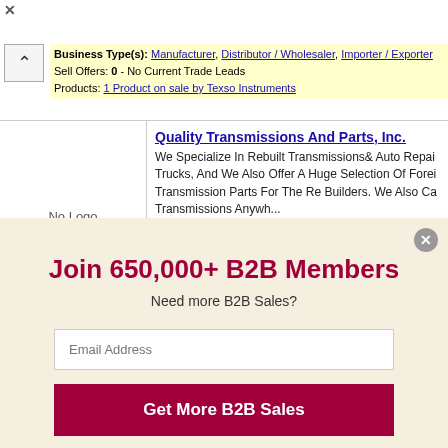×
Business Type(s): Manufacturer, Distributor / Wholesaler, Importer / Exporter
Sell Offers: 0 - No Current Trade Leads
Products: 1 Product on sale by Texso Instruments
No Logo
Quality Transmissions And Parts, Inc.
We Specialize In Rebuilt Transmissions& Auto Repair Cars, Trucks, And We Also Offer A Huge Selection Of Foreign & Domestic Transmission Parts For The Re Builders. We Also Can Ship Transmissions Anywh...
Member since 2 October, 2011, US - Florida
Primary Business Type(s): Distributor / Wholesaler
Buy & Sell Offers: 0 - No Current Trade Leads
Products: 0 - No Current Products
Join 650,000+ B2B Members
Need more B2B Sales?
Email Address
Get More B2B Sales